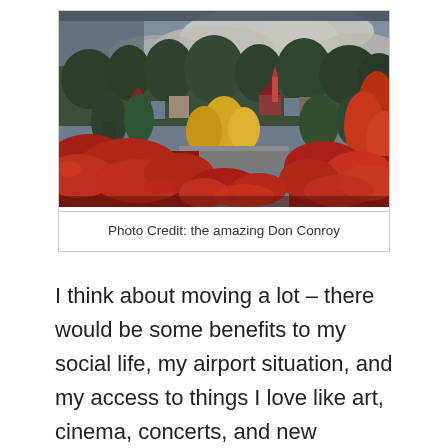[Figure (photo): Aerial/elevated view of a small town in autumn, with vibrant red, orange, and yellow foliage in the foreground, evergreen trees, buildings including a church steeple, and a dramatic cloudy sky above.]
Photo Credit: the amazing Don Conroy
I think about moving a lot – there would be some benefits to my social life, my airport situation, and my access to things I love like art, cinema, concerts, and new restaurants. At